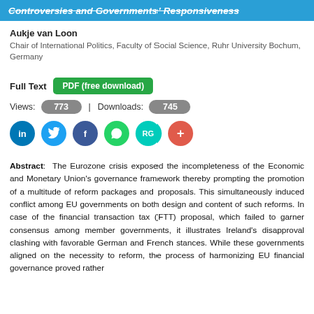Controversies and Governments' Responsiveness
Aukje van Loon
Chair of International Politics, Faculty of Social Science, Ruhr University Bochum, Germany
Full Text   PDF (free download)
Views: 773  |  Downloads: 745
[Figure (other): Social media sharing icons: LinkedIn, Twitter, Facebook, WhatsApp, ResearchGate, More (+)]
Abstract: The Eurozone crisis exposed the incompleteness of the Economic and Monetary Union's governance framework thereby prompting the promotion of a multitude of reform packages and proposals. This simultaneously induced conflict among EU governments on both design and content of such reforms. In case of the financial transaction tax (FTT) proposal, which failed to garner consensus among member governments, it illustrates Ireland's disapproval clashing with favorable German and French stances. While these governments aligned on the necessity to reform, the process of harmonizing EU financial governance proved rather